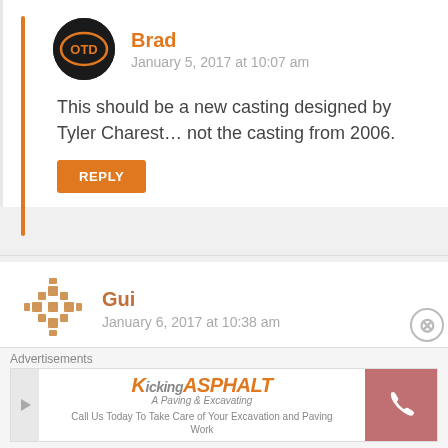[Figure (illustration): Brad user avatar - black circle with orange OTD logo]
Brad
January 5, 2017 at 10:07 am
This should be a new casting designed by Tyler Charest... not the casting from 2006.
REPLY
[Figure (illustration): Gui user avatar - decorative snowflake-like pattern in orange/brown]
Gui
January 6, 2017 at 10:38 am
Send More Pictures New Models Hot Wheels 2017 Hotweiler , Track Hammer , Baja Hauler , Mercedes AMG GT 2016 , Crescendo , The Embosser And Honda Civic Type R 2016 Mix Models F And H Gui
Advertisements
[Figure (illustration): Kickin Asphalt advertisement banner - Call Us Today To Take Care of Your Excavation and Paving Work]